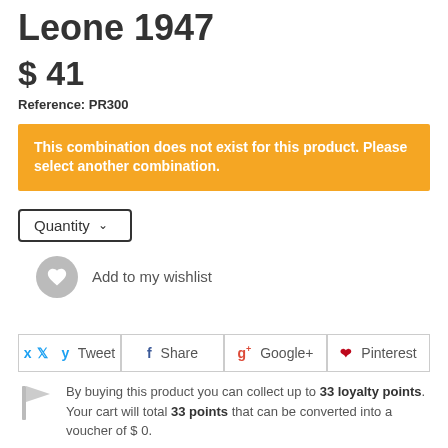Leone 1947
$ 41
Reference: PR300
This combination does not exist for this product. Please select another combination.
Quantity
Add to my wishlist
Tweet   Share   Google+   Pinterest
By buying this product you can collect up to 33 loyalty points. Your cart will total 33 points that can be converted into a voucher of $ 0.